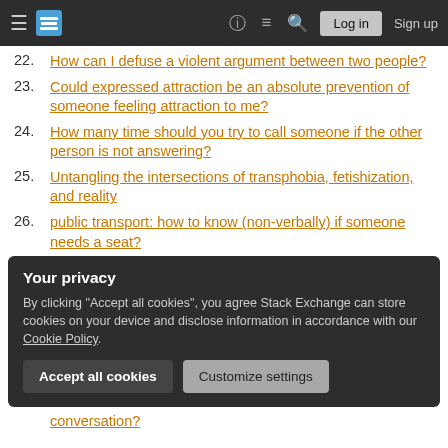Stack Exchange navigation bar with Log in and Sign up
22. How can I defuse a violent argument between two people?
23. Could expressed attraction be an absolute prevention of someone feeling attraction to me?
24. How many time should you try to call someone if the other person is not answering?
25. Untangling the intersections of transphobia, fetishization, and reality
26. public transport: how to know (non-verbally) if someone needs a seat?
Your privacy
By clicking "Accept all cookies", you agree Stack Exchange can store cookies on your device and disclose information in accordance with our Cookie Policy.
27. conversation?